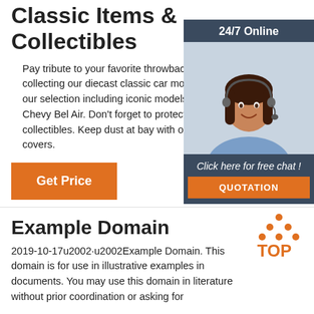Classic Items & Collectibles
Pay tribute to your favorite throwback machines by collecting our diecast classic car models. Take a look at our selection including iconic models like the 1955 Chevy Bel Air. Don't forget to protect your best car collectibles. Keep dust at bay with our model-sized car covers.
[Figure (other): Orange 'Get Price' button]
[Figure (other): Customer service chat widget with '24/7 Online' header, woman with headset photo, 'Click here for free chat!' text, and orange 'QUOTATION' button]
Example Domain
[Figure (logo): TOP logo with orange triangle dots and orange text]
2019-10-17u2002·u2002Example Domain. This domain is for use in illustrative examples in documents. You may use this domain in literature without prior coordination or asking for